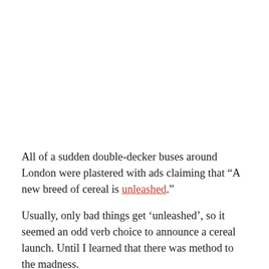All of a sudden double-decker buses around London were plastered with ads claiming that “A new breed of cereal is unleashed.”
Usually, only bad things get ‘unleashed’, so it seemed an odd verb choice to announce a cereal launch. Until I learned that there was method to the madness.